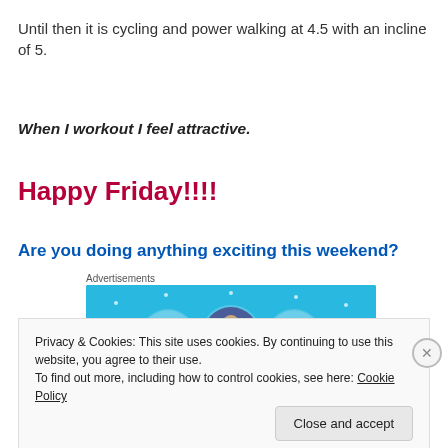Until then it is cycling and power walking at 4.5 with an incline of 5.
When I workout I feel attractive.
Happy Friday!!!!
Are you doing anything exciting this weekend?
Advertisements
[Figure (illustration): Advertisement banner with light blue background showing circular icons with figures and laptop/device graphics]
Privacy & Cookies: This site uses cookies. By continuing to use this website, you agree to their use.
To find out more, including how to control cookies, see here: Cookie Policy
Close and accept